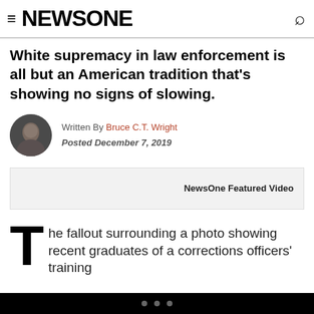≡ NEWSONE
White supremacy in law enforcement is all but an American tradition that's showing no signs of slowing.
Written By Bruce C.T. Wright Posted December 7, 2019
[Figure (other): NewsOne Featured Video box]
The fallout surrounding a photo showing recent graduates of a corrections officers' training